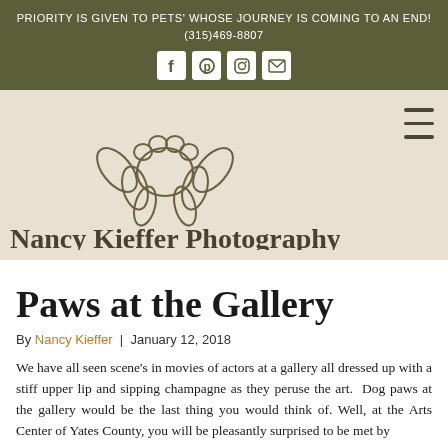PRIORITY IS GIVEN TO PETS' WHOSE JOURNEY IS COMING TO AN END!
(315)469-8807
[Figure (logo): Nancy Kieffer Photography logo with paw print and leaves above the name text]
Paws at the Gallery
By Nancy Kieffer  |  January 12, 2018
We have all seen scene's in movies of actors at a gallery all dressed up with a stiff upper lip and sipping champagne as they peruse the art.  Dog paws at the gallery would be the last thing you would think of. Well, at the Arts Center of Yates County, you will be pleasantly surprised to be met by